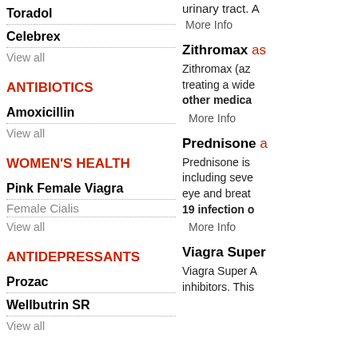Toradol
Celebrex
View all
ANTIBIOTICS
Amoxicillin
View all
WOMEN'S HEALTH
Pink Female Viagra
Female Cialis
View all
ANTIDEPRESSANTS
Prozac
Wellbutrin SR
View all
urinary tract. A
More Info
Zithromax as
Zithromax (az treating a wide other medica
More Info
Prednisone a
Prednisone is including seve eye and breat 19 infection o
More Info
Viagra Super
Viagra Super A inhibitors. This